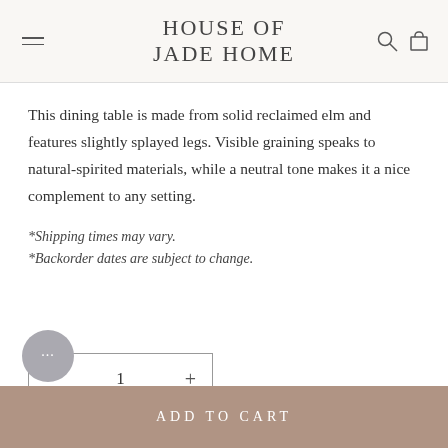HOUSE OF JADE HOME
This dining table is made from solid reclaimed elm and features slightly splayed legs. Visible graining speaks to natural-spirited materials, while a neutral tone makes it a nice complement to any setting.
*Shipping times may vary.
*Backorder dates are subject to change.
1
ADD TO CART